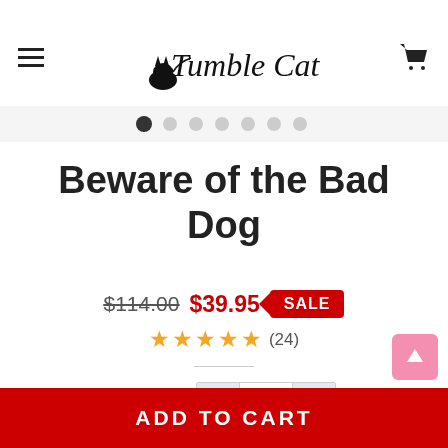Tumble Cat
[Figure (other): Carousel slider dots indicator, 7 dots with first active]
Beware of the Bad Dog
$114.00  $39.95  SALE
★★★★★ (24)
Quantity  -  1  +
ADD TO CART